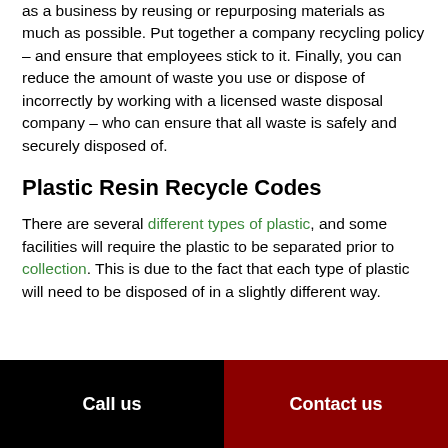as a business by reusing or repurposing materials as much as possible. Put together a company recycling policy – and ensure that employees stick to it. Finally, you can reduce the amount of waste you use or dispose of incorrectly by working with a licensed waste disposal company – who can ensure that all waste is safely and securely disposed of.
Plastic Resin Recycle Codes
There are several different types of plastic, and some facilities will require the plastic to be separated prior to collection. This is due to the fact that each type of plastic will need to be disposed of in a slightly different way.
Call us | Contact us